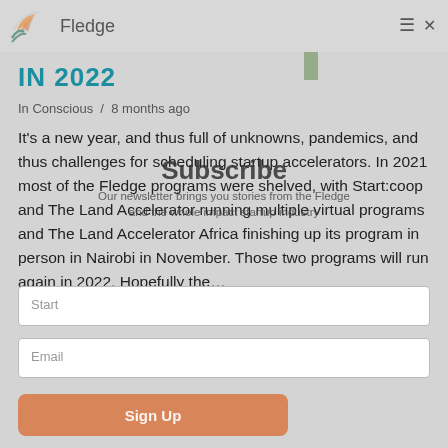Fledge
IN 2022
In Conscious / 8 months ago
It's a new year, and thus full of unknowns, pandemics, and thus challenges for scheduling startup accelerators. In 2021 most of the Fledge programs were shelved, with Start:coop and The Land Accelerator running multiple virtual programs and The Land Accelerator Africa finishing up its program in person in Nairobi in November. Those two programs will run again in 2022. Hopefully the...
Subscribe
Our newsletter brings you stories from the Fledge and the whole impact startup industry
Start
Email
Sign Up